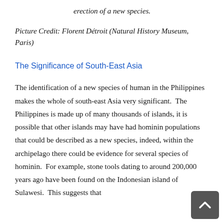erection of a new species.
Picture Credit: Florent Détroit (Natural History Museum, Paris)
The Significance of South-East Asia
The identification of a new species of human in the Philippines makes the whole of south-east Asia very significant.  The Philippines is made up of many thousands of islands, it is possible that other islands may have had hominin populations that could be described as a new species, indeed, within the archipelago there could be evidence for several species of hominin.  For example, stone tools dating to around 200,000 years ago have been found on the Indonesian island of Sulawesi.  This suggests that